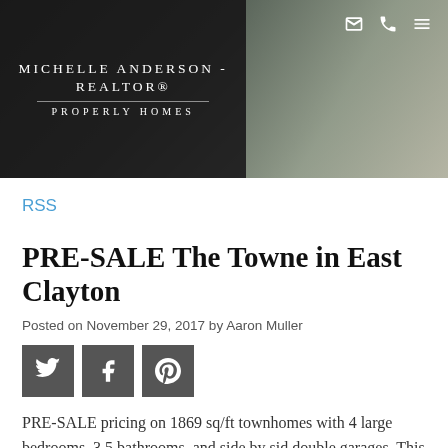[Figure (screenshot): Website header banner for Michelle Anderson Realtor with dark overlay, name, divider, 'PROPERLY HOMES' tagline, and navigation icons (email, phone, menu)]
RSS
PRE-SALE The Towne in East Clayton
Posted on November 29, 2017 by Aaron Muller
[Figure (other): Social sharing buttons: Twitter, Facebook, Pinterest]
PRE-SALE pricing on 1869 sq/ft townhomes with 4 large bedrooms, 3.5 bathrooms, and side by side double garages. This is an exciting opportunity for you to purchase a home prior to their release to the general public.